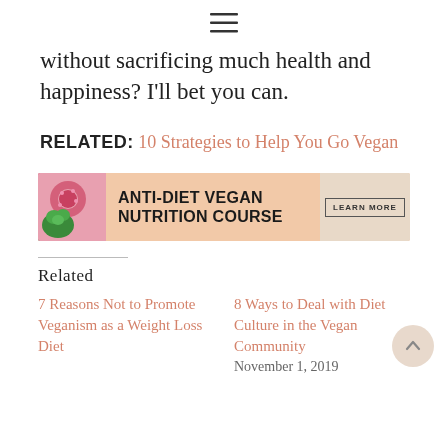[Figure (other): Hamburger menu icon (three horizontal lines)]
without sacrificing much health and happiness? I'll bet you can.
RELATED: 10 Strategies to Help You Go Vegan
[Figure (other): Anti-Diet Vegan Nutrition Course banner advertisement with food images, peach/tan background, and LEARN MORE button]
Related
7 Reasons Not to Promote Veganism as a Weight Loss Diet
8 Ways to Deal with Diet Culture in the Vegan Community
November 1, 2019